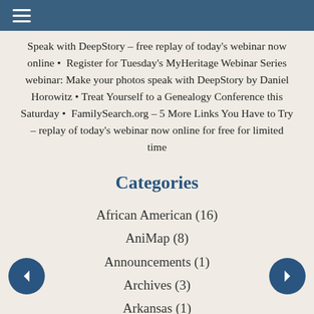≡
Speak with DeepStory – free replay of today's webinar now online • Register for Tuesday's MyHeritage Webinar Series webinar: Make your photos speak with DeepStory by Daniel Horowitz • Treat Yourself to a Genealogy Conference this Saturday • FamilySearch.org – 5 More Links You Have to Try – replay of today's webinar now online for free for limited time
Categories
African American (16)
AniMap (8)
Announcements (1)
Archives (3)
Arkansas (1)
See More